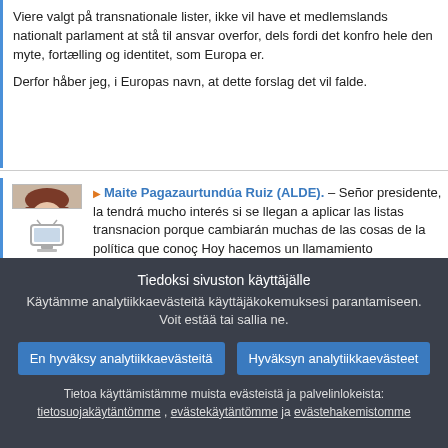Viere valgt på transnationale lister, ikke vil have et medlemslands nationalt parlament at stå til ansvar overfor, dels fordi det konfro hele den myte, fortælling og identitet, som Europa er.

Derfor håber jeg, i Europas navn, at dette forslag det vil falde.
[Figure (photo): Portrait photo of Maite Pagazaurtundúa Ruiz with short brown hair and glasses]
[Figure (illustration): TV/screen icon]
Maite Pagazaurtundúa Ruiz (ALDE). – Señor presidente, la tendrá mucho interés si se llegan a aplicar las listas transnacion porque cambiarán muchas de las cosas de la política que conoç Hoy hacemos un llamamiento nuevamente sobre la importancia sistema permanente para la distribución justa y transparente de escaños del Parlamento Europeo. No tenemos un sistema y vo dejar el asunto para el futuro de forma incomprensible. Esta es mala noticia de este informe porque, por fin, esta propuesta cu el principio de la proporcionalidad decreciente y, por supuesto, cuestión de las listas trasnacionales.
Tiedoksi sivuston käyttäjälle
Käytämme analytiikkaevästeitä käyttäjäkokemuksesi parantamiseen. Voit estää tai sallia ne.
En hyväksy analytiikkaevästeitä
Hyväksyn analytiikkaevästeet
Tietoa käyttämistämme muista evästeistä ja palvelinlokeista:
tietosuojakäytäntömme , evästekäytäntömme ja evästehakemistomme